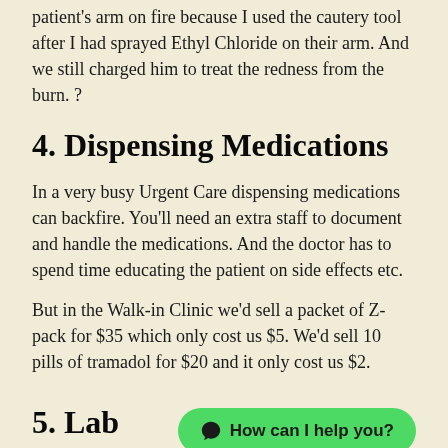patient's arm on fire because I used the cautery tool after I had sprayed Ethyl Chloride on their arm. And we still charged him to treat the redness from the burn. ?
4. Dispensing Medications
In a very busy Urgent Care dispensing medications can backfire. You'll need an extra staff to document and handle the medications. And the doctor has to spend time educating the patient on side effects etc.
But in the Walk-in Clinic we'd sell a packet of Z-pack for $35 which only cost us $5. We'd sell 10 pills of tramadol for $20 and it only cost us $2.
5. Lab Tests